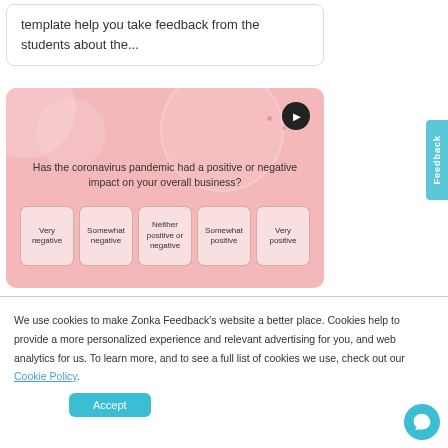template help you take feedback from the students about the...
[Figure (screenshot): Pink survey card showing question 'Has the coronavirus pandemic had a positive or negative impact on your overall business?' with five option boxes: Very negative, Somewhat negative, Neither positive or negative, Somewhat positive, Very positive. A navigation arrow button in top right corner.]
We use cookies to make Zonka Feedback's website a better place. Cookies help to provide a more personalized experience and relevant advertising for you, and web analytics for us. To learn more, and to see a full list of cookies we use, check out our Cookie Policy.
Accept